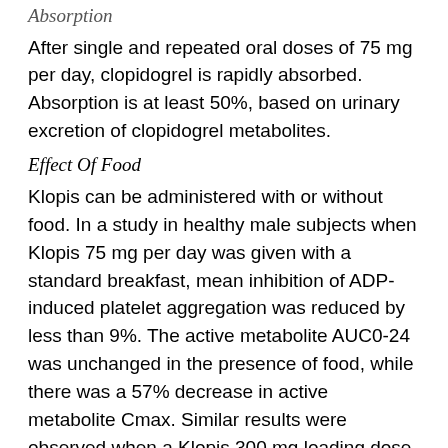After single and repeated oral doses of 75 mg per day, clopidogrel is rapidly absorbed. Absorption is at least 50%, based on urinary excretion of clopidogrel metabolites.
Effect Of Food
Klopis can be administered with or without food. In a study in healthy male subjects when Klopis 75 mg per day was given with a standard breakfast, mean inhibition of ADP-induced platelet aggregation was reduced by less than 9%. The active metabolite AUC0-24 was unchanged in the presence of food, while there was a 57% decrease in active metabolite Cmax. Similar results were observed when a Klopis 300 mg loading dose was administered with a high-fat breakfast.